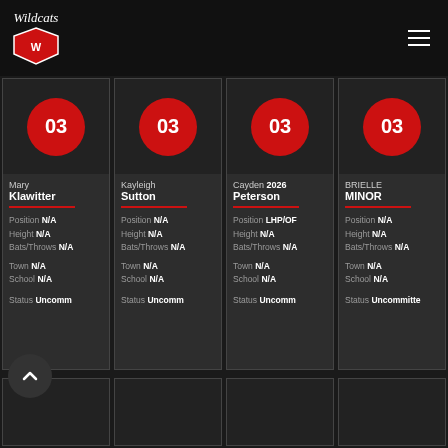[Figure (logo): Wildcats team logo with shield emblem]
Mary Klawitter | Position N/A | Height N/A | Bats/Throws N/A | Town N/A | School N/A | Status Uncommitted
Kayleigh Sutton | Position N/A | Height N/A | Bats/Throws N/A | Town N/A | School N/A | Status Uncommitted
Cayden 2026 Peterson | Position LHP/OF | Height N/A | Bats/Throws N/A | Town N/A | School N/A | Status Uncommitted
BRIELLE MINOR | Position N/A | Height N/A | Bats/Throws N/A | Town N/A | School N/A | Status Uncommitted